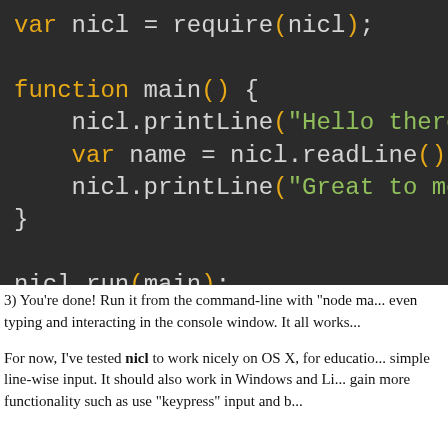[Figure (screenshot): Dark-themed code editor screenshot showing JavaScript/nicl code: var nicl = require('nicl'); function main() { nicl.printLine("Hello there! What..."); var name = nicl.readLine(); nicl.printLine("Great to meet you..."); } nicl.run(main);]
3) You're done! Run it from the command-line with "node ma... even typing and interacting in the console window. It all works...
For now, I've tested nicl to work nicely on OS X, for educatio... simple line-wise input. It should also work in Windows and Li... gain more functionality such as use "keypress" input and b...